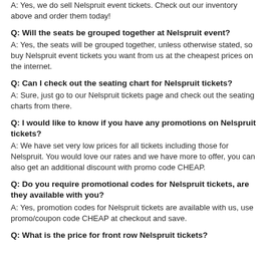A: Yes, we do sell Nelspruit event tickets. Check out our inventory above and order them today!
Q: Will the seats be grouped together at Nelspruit event?
A: Yes, the seats will be grouped together, unless otherwise stated, so buy Nelspruit event tickets you want from us at the cheapest prices on the internet.
Q: Can I check out the seating chart for Nelspruit tickets?
A: Sure, just go to our Nelspruit tickets page and check out the seating charts from there.
Q: I would like to know if you have any promotions on Nelspruit tickets?
A: We have set very low prices for all tickets including those for Nelspruit. You would love our rates and we have more to offer, you can also get an additional discount with promo code CHEAP.
Q: Do you require promotional codes for Nelspruit tickets, are they available with you?
A: Yes, promotion codes for Nelspruit tickets are available with us, use promo/coupon code CHEAP at checkout and save.
Q: What is the price for front row Nelspruit tickets?